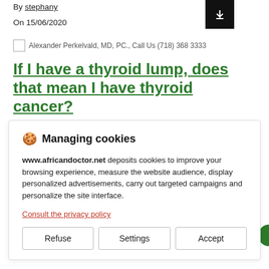By stephany
On 15/06/2020
[Figure (other): Alexander Perkelvald, MD, PC., Call Us (718) 368 3333 - image placeholder]
If I have a thyroid lump, does that mean I have thyroid cancer?
Managing cookies

www.africandoctor.net deposits cookies to improve your browsing experience, measure the website audience, display personalized advertisements, carry out targeted campaigns and personalize the site interface.

Consult the privacy policy

[Refuse] [Settings] [Accept]
and do a careful physical exam. They may also do an